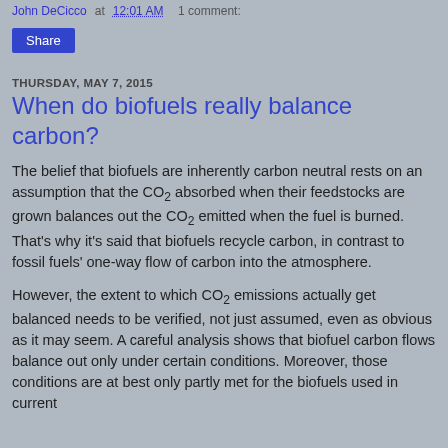John DeCicco at 12:01 AM   1 comment:
Share
THURSDAY, MAY 7, 2015
When do biofuels really balance carbon?
The belief that biofuels are inherently carbon neutral rests on an assumption that the CO2 absorbed when their feedstocks are grown balances out the CO2 emitted when the fuel is burned. That's why it's said that biofuels recycle carbon, in contrast to fossil fuels' one-way flow of carbon into the atmosphere.
However, the extent to which CO2 emissions actually get balanced needs to be verified, not just assumed, even as obvious as it may seem. A careful analysis shows that biofuel carbon flows balance out only under certain conditions. Moreover, those conditions are at best only partly met for the biofuels used in current...